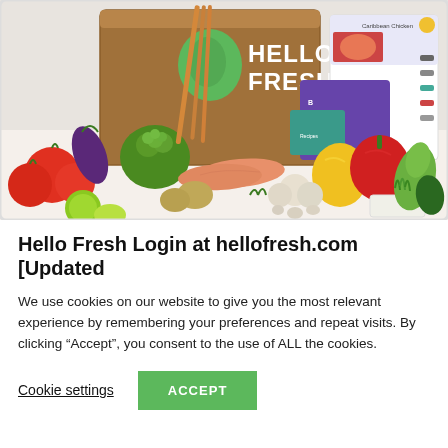[Figure (photo): HelloFresh branded box with green logo and white text, surrounded by fresh vegetables, salmon, peppers, tomatoes, garlic, broccoli, and recipe cards on a white surface.]
Hello Fresh Login at hellofresh.com [Updated
We use cookies on our website to give you the most relevant experience by remembering your preferences and repeat visits. By clicking “Accept”, you consent to the use of ALL the cookies.
Cookie settings | ACCEPT